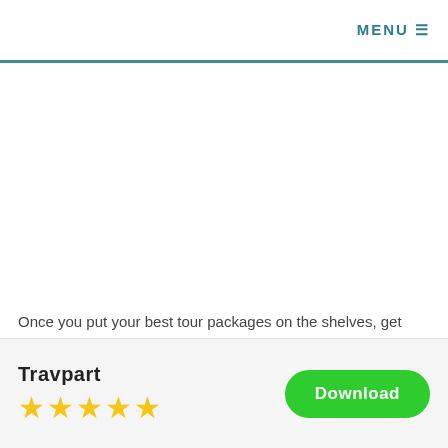MENU ☰
Once you put your best tour packages on the shelves, get ready to be contacted by your customer. Travchat is the tool that lets you communicate with the potential customers before they are making a purchase. Travchat is a safety gate for customers to interact with travel agents.
Travpart
★★★★★
Download